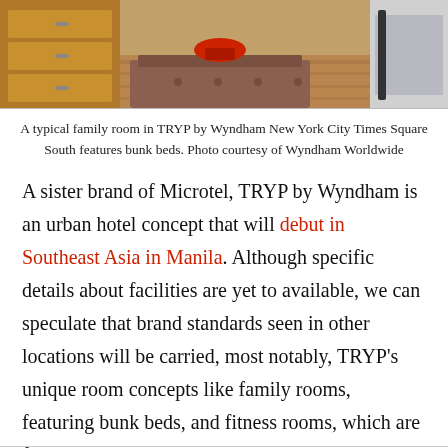[Figure (photo): A hotel room showing wooden furniture, hardwood floor, a tufted bench, and a red stool. Part of a bunk bed or bed visible on the right.]
A typical family room in TRYP by Wyndham New York City Times Square South features bunk beds. Photo courtesy of Wyndham Worldwide
A sister brand of Microtel, TRYP by Wyndham is an urban hotel concept that will debut in Southeast Asia in Manila. Although specific details about facilities are yet to available, we can speculate that brand standards seen in other locations will be carried, most notably, TRYP’s unique room concepts like family rooms, featuring bunk beds, and fitness rooms, which are furnished with exercise equipment.